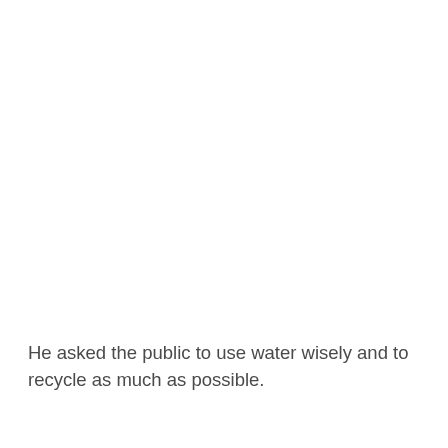He asked the public to use water wisely and to recycle as much as possible.